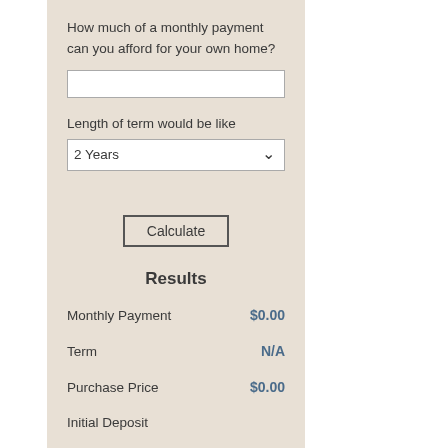How much of a monthly payment can you afford for your own home?
Length of term would be like
2 Years
Calculate
Results
Monthly Payment    $0.00
Term    N/A
Purchase Price    $0.00
Initial Deposit